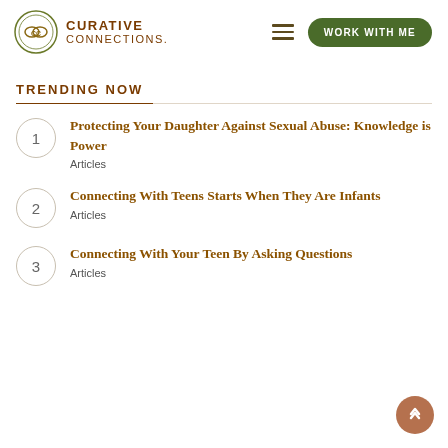[Figure (logo): Curative Connections logo with circular emblem and text]
TRENDING NOW
Protecting Your Daughter Against Sexual Abuse: Knowledge is Power
Articles
Connecting With Teens Starts When They Are Infants
Articles
Connecting With Your Teen By Asking Questions
Articles